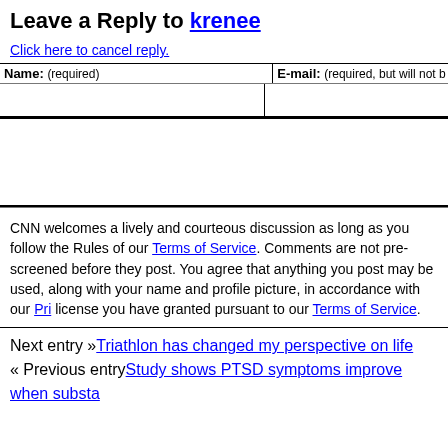Leave a Reply to krenee
Click here to cancel reply.
| Name: (required) | E-mail: (required, but will not be published) |
| --- | --- |
|  |  |
CNN welcomes a lively and courteous discussion as long as you follow the Rules of our Terms of Service. Comments are not pre-screened before they post. You agree that anything you post may be used, along with your name and profile picture, in accordance with our Privacy Policy and the license you have granted pursuant to our Terms of Service.
Next entry »Triathlon has changed my perspective on life
« Previous entryStudy shows PTSD symptoms improve when substa